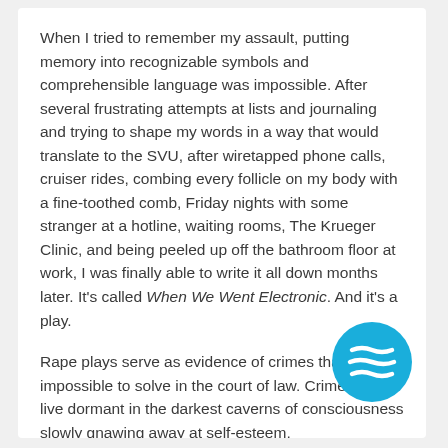When I tried to remember my assault, putting memory into recognizable symbols and comprehensible language was impossible. After several frustrating attempts at lists and journaling and trying to shape my words in a way that would translate to the SVU, after wiretapped phone calls, cruiser rides, combing every follicle on my body with a fine-toothed comb, Friday nights with some stranger at a hotline, waiting rooms, The Krueger Clinic, and being peeled up off the bathroom floor at work, I was finally able to write it all down months later. It's called When We Went Electronic. And it's a play.
Rape plays serve as evidence of crimes that often impossible to solve in the court of law. Crimes that live dormant in the darkest caverns of consciousness slowly gnawing away at self-esteem,
[Figure (illustration): A blue circle icon with three horizontal white wavy/striped lines, resembling a hamburger menu or abstract lines icon, positioned in the lower right area of the page.]